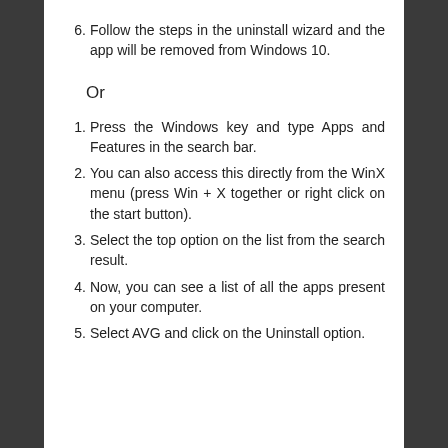6. Follow the steps in the uninstall wizard and the app will be removed from Windows 10.
Or
1. Press the Windows key and type Apps and Features in the search bar.
2. You can also access this directly from the WinX menu (press Win + X together or right click on the start button).
3. Select the top option on the list from the search result.
4. Now, you can see a list of all the apps present on your computer.
5. Select AVG and click on the Uninstall option.